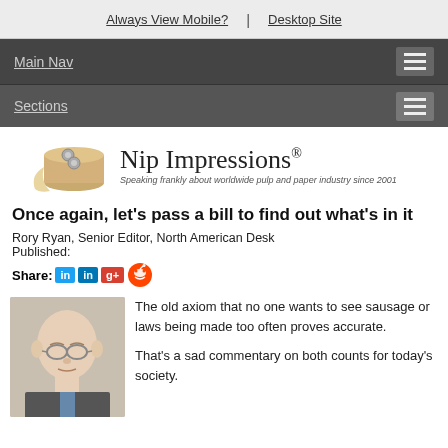Always View Mobile? | Desktop Site
Main Nav
Sections
[Figure (logo): Nip Impressions logo with paper roll graphic. Text: 'Nip Impressions® Speaking frankly about worldwide pulp and paper industry since 2001']
Once again, let's pass a bill to find out what's in it
Rory Ryan, Senior Editor, North American Desk
Published:
Share: [Twitter] [LinkedIn] [Google+] [Reddit]
The old axiom that no one wants to see sausage or laws being made too often proves accurate.

That's a sad commentary on both counts for today's society.